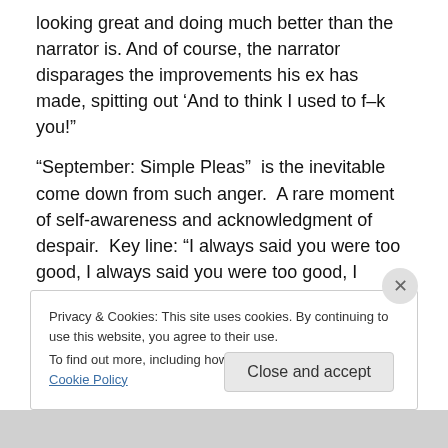looking great and doing much better than the narrator is. And of course, the narrator disparages the improvements his ex has made, spitting out ‘And to think I used to f–k you!”
“September: Simple Pleas”  is the inevitable come down from such anger.  A rare moment of self-awareness and acknowledgment of despair.  Key line: “I always said you were too good, I always said you were too good, I always said you were too good … and now you believe … I think I always knew that you were gonna leave.”
Privacy & Cookies: This site uses cookies. By continuing to use this website, you agree to their use.
To find out more, including how to control cookies, see here: Cookie Policy
Close and accept